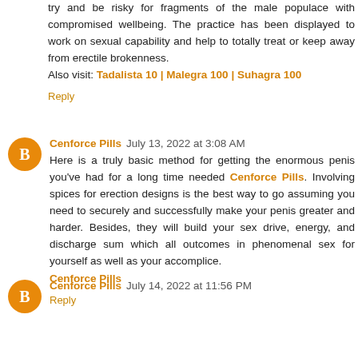try and be risky for fragments of the male populace with compromised wellbeing. The practice has been displayed to work on sexual capability and help to totally treat or keep away from erectile brokenness.
Also visit: Tadalista 10 | Malegra 100 | Suhagra 100
Reply
Cenforce Pills  July 13, 2022 at 3:08 AM
Here is a truly basic method for getting the enormous penis you've had for a long time needed Cenforce Pills. Involving spices for erection designs is the best way to go assuming you need to securely and successfully make your penis greater and harder. Besides, they will build your sex drive, energy, and discharge sum which all outcomes in phenomenal sex for yourself as well as your accomplice.
Cenforce Pills
Reply
Cenforce Pills  July 14, 2022 at 11:56 PM